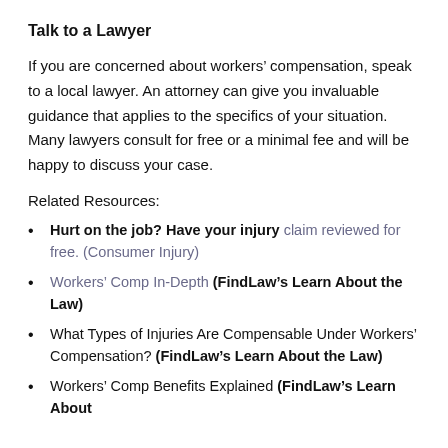Talk to a Lawyer
If you are concerned about workers’ compensation, speak to a local lawyer. An attorney can give you invaluable guidance that applies to the specifics of your situation. Many lawyers consult for free or a minimal fee and will be happy to discuss your case.
Related Resources:
Hurt on the job? Have your injury claim reviewed for free. (Consumer Injury)
Workers’ Comp In-Depth (FindLaw’s Learn About the Law)
What Types of Injuries Are Compensable Under Workers’ Compensation? (FindLaw’s Learn About the Law)
Workers’ Comp Benefits Explained (FindLaw’s Learn About